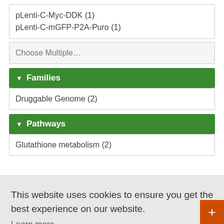pLenti-C-Myc-DDK (1)
pLenti-C-mGFP-P2A-Puro (1)
Choose Multiple…
Families
Druggable Genome (2)
Pathways
Glutathione metabolism (2)
This website uses cookies to ensure you get the best experience on our website. Learn more
Got it!
Live Chat Online